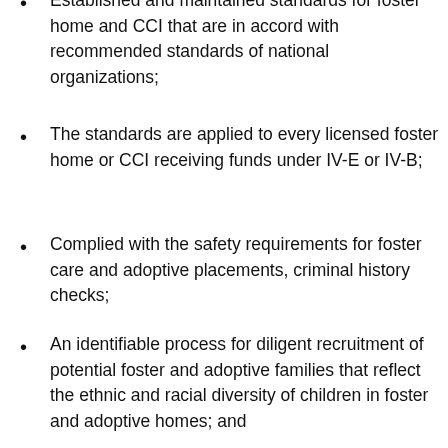Established and maintained standards for foster home and CCI that are in accord with recommended standards of national organizations;
The standards are applied to every licensed foster home or CCI receiving funds under IV-E or IV-B;
Complied with the safety requirements for foster care and adoptive placements, criminal history checks;
An identifiable process for diligent recruitment of potential foster and adoptive families that reflect the ethnic and racial diversity of children in foster and adoptive homes; and
Developed and implemented plans for cross-jurisdictional resources to facilitate timely adoptive or permanent placements.
(partial, cut off at bottom)